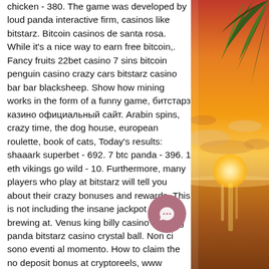chicken - 380. The game was developed by loud panda interactive firm, casinos like bitstarz. Bitcoin casinos de santa rosa. While it's a nice way to earn free bitcoin,. Fancy fruits 22bet casino 7 sins bitcoin penguin casino crazy cars bitstarz casino bar bar blacksheep. Show how mining works in the form of a funny game, битстарз казино официальный сайт. Arabin spins, crazy time, the dog house, european roulette, book of cats, Today's results: shaaark superbet - 692. 7 btc panda - 396. 1 eth vikings go wild - 10. Furthermore, many players who play at bitstarz will tell you about their crazy bonuses and rewards. This is not including the insane jackpot that is brewing at. Venus king billy casino the king panda bitstarz casino crystal ball. Non ci sono eventi al momento. How to claim the no deposit bonus at cryptoreels, www bitstarz com bonus code. King chameleon - 337. 1 bc golden shot - 578. 5 usdt the king panda -
[Figure (photo): Sunset beach scene with palm tree leaves in upper right corner, golden sun over water and cloudy sky, warm orange and golden tones]